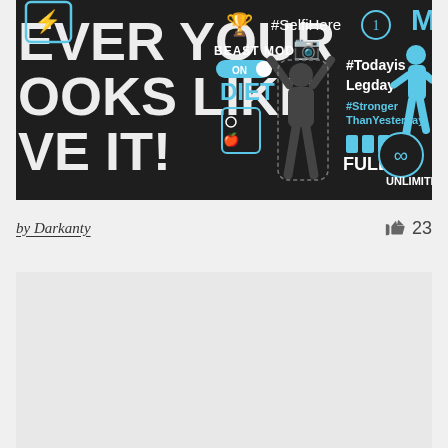[Figure (infographic): Dark-background fitness infographic with blue illustrated characters. Text elements include '#SelfiHere', 'BEAST MODE ON', 'DIET', '#TodayisLegday', '#StrongerThanYesterday', 'FULL', 'UNLIMITED', 'EVER YOUR', 'OOKS LIKE', 'VE IT!'. Icons include trophy, camera, rank-1 medal, infinity symbol, scale/weight. Central figure is a dark silhouette of a person flexing.]
by Darkanty
23
[Figure (photo): Light gray placeholder card, content not visible]